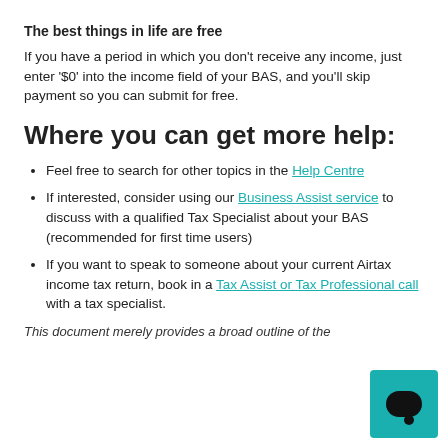The best things in life are free
If you have a period in which you don't receive any income, just enter '$0' into the income field of your BAS, and you'll skip payment so you can submit for free.
Where you can get more help:
Feel free to search for other topics in the Help Centre
If interested, consider using our Business Assist service to discuss with a qualified Tax Specialist about your BAS (recommended for first time users)
If you want to speak to someone about your current Airtax income tax return, book in a Tax Assist or Tax Professional call with a tax specialist.
This document merely provides a broad outline of the